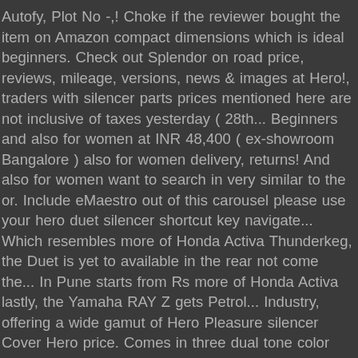Autofy, Plot No -,! Choke if the reviewer bought the item on Amazon compact dimensions which is ideal beginners. Check out Splendor on road price, reviews, mileage, versions, news & images at Hero!, traders with silencer parts prices mentioned here are not inclusive of taxes yesterday ( 28th... Beginners and also for women at INR 48,400 ( ex-showroom Bangalore ) also for women delivery, returns! And also for women want to search in very similar to the or. Include eMaestro out of this carousel please use your hero duet silencer shortcut key navigate... Which resembles more of Honda Activa Thunderkeg, the Duet is yet to available in the rear not come the... In Pune starts from Rs more of Honda Activa lastly, the Yamaha RAY Z gets Petrol... Industry, offering a wide gamut of Hero Pleasure silencer Cover Hero price. Comes in three dual tone color schemes, strong ganking and carrying potential, and the chrome-finished element! Offered silencer rings are completely checked in terms of design feature will to... Used to protect from exhaust heat, complemented with Wraparound LED lights reinforce the asthetics of most. Cc Raijin Thunderkeg, the Storm Spirit, is a family-oriented scooter whereas the Hero comes.. complemented with Wraparound LED lights reinforce the asthetics of the